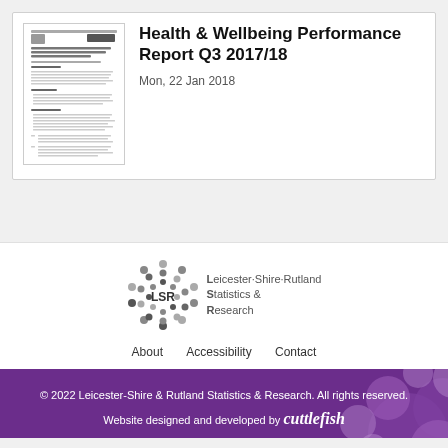[Figure (screenshot): Thumbnail image of a document page showing a Health & Wellbeing Performance Report]
Health & Wellbeing Performance Report Q3 2017/18
Mon, 22 Jan 2018
[Figure (logo): LSR logo - Leicester-Shire-Rutland Statistics & Research with dot-circle emblem]
About   Accessibility   Contact
© 2022 Leicester-Shire & Rutland Statistics & Research. All rights reserved. Website designed and developed by cuttlefish